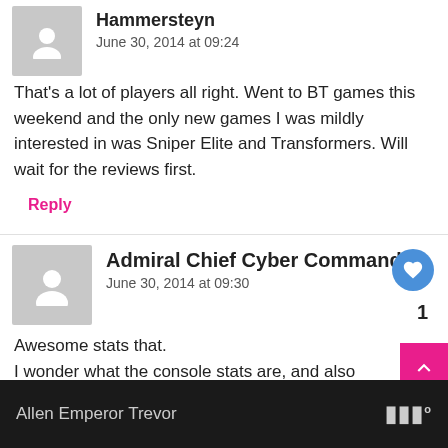Hammersteyn
June 30, 2014 at 09:24
That's a lot of players all right. Went to BT games this weekend and the only new games I was mildly interested in was Sniper Elite and Transformers. Will wait for the reviews first.
Reply
Admiral Chief Cyber Commando
June 30, 2014 at 09:30
Awesome stats that.
I wonder what the console stats are, and also how the Steam stats a... console stats are for each country
Reply
WHAT'S NEXT → Batman Animated...
Allen Emperor Trevor